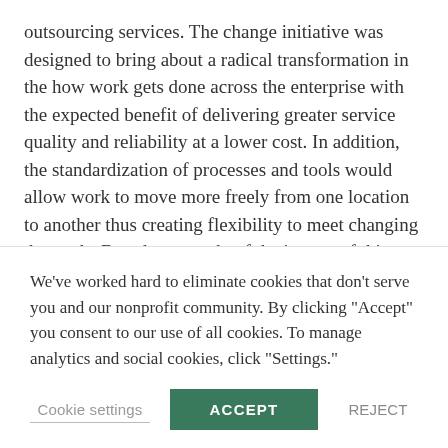outsourcing services. The change initiative was designed to bring about a radical transformation in the how work gets done across the enterprise with the expected benefit of delivering greater service quality and reliability at a lower cost. In addition, the standardization of processes and tools would allow work to move more freely from one location to another thus creating flexibility to meet changing demands. Based on a study of the impact of this initiative on four global delivery centers we explore how change occurs within organizations both as an ongoing achievement and as the
We've worked hard to eliminate cookies that don't serve you and our nonprofit community. By clicking "Accept" you consent to our use of all cookies. To manage analytics and social cookies, click "Settings."